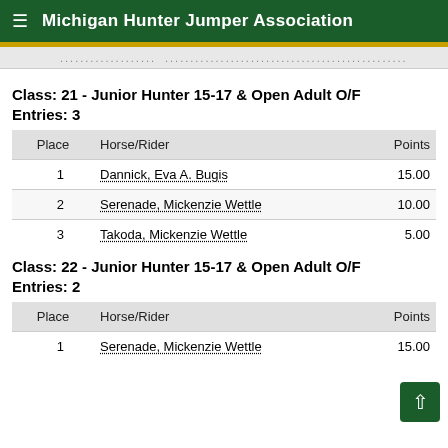Michigan Hunter Jumper Association
Class: 21 - Junior Hunter 15-17 & Open Adult O/F    Entries: 3
| Place | Horse/Rider | Points |
| --- | --- | --- |
| 1 | Dannick, Eva A. Bugis | 15.00 |
| 2 | Serenade, Mickenzie Wettle | 10.00 |
| 3 | Takoda, Mickenzie Wettle | 5.00 |
Class: 22 - Junior Hunter 15-17 & Open Adult O/F    Entries: 2
| Place | Horse/Rider | Points |
| --- | --- | --- |
| 1 | Serenade, Mickenzie Wettle | 15.00 |